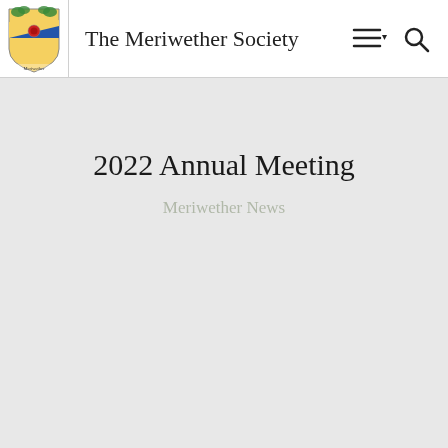The Meriwether Society
2022 Annual Meeting
Meriwether News